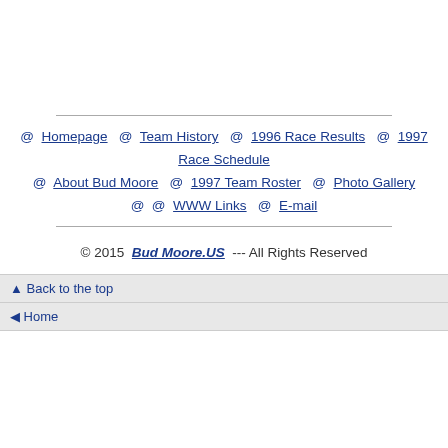@ Homepage @ Team History @ 1996 Race Results @ 1997 Race Schedule @ About Bud Moore @ 1997 Team Roster @ Photo Gallery @ @ WWW Links @ E-mail
© 2015  Bud Moore.US  --- All Rights Reserved
▲ Back to the top
◄ Home